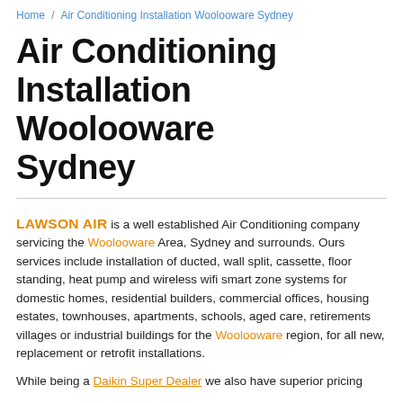Home / Air Conditioning Installation Woolooware Sydney
Air Conditioning Installation Woolooware Sydney
LAWSON AIR is a well established Air Conditioning company servicing the Woolooware Area, Sydney and surrounds. Ours services include installation of ducted, wall split, cassette, floor standing, heat pump and wireless wifi smart zone systems for domestic homes, residential builders, commercial offices, housing estates, townhouses, apartments, schools, aged care, retirements villages or industrial buildings for the Woolooware region, for all new, replacement or retrofit installations.
While being a Daikin Super Dealer we also have superior pricing